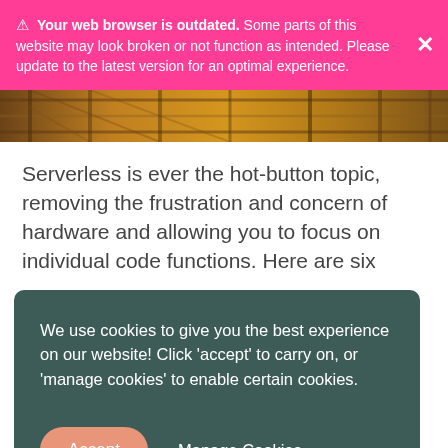⚠ Your web browser is outdated. Some parts of this website may look broken or not function as intended. Please update to the latest version for an optimal experience. ✕
[Figure (photo): Partial view of wooden or metal scaffolding/structure with warm brown and orange tones, serving as a hero image strip.]
Serverless is ever the hot-button topic, removing the frustration and concern of hardware and allowing you to focus on individual code functions. Here are six
We use cookies to give you the best experience on our website! Click 'accept' to carry on, or 'manage cookies' to enable certain cookies.
Accept    Manage Cookies →
3. Kubeless